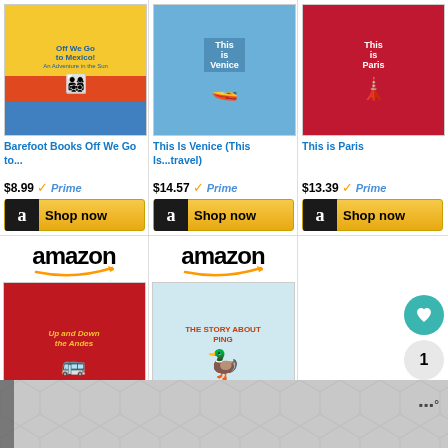[Figure (screenshot): Amazon product listing screenshot showing 5 children's travel books with prices and Shop now buttons. Row 1: Barefoot Books Off We Go to... $8.99 Prime, This Is Venice (This Is...travel) $14.57 Prime, This is Paris $13.39 Prime. Row 2: Up and Down the Andes... $26.00 Prime, The Story about Ping $4.99 Prime. Bottom decorative banner with geometric pattern.]